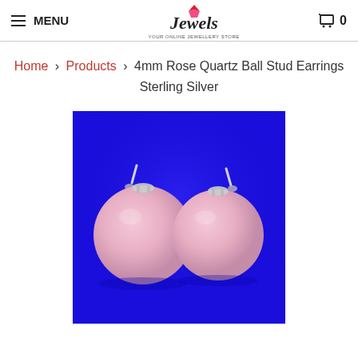MENU | Jewels logo | Cart 0
Home > Products > 4mm Rose Quartz Ball Stud Earrings Sterling Silver
[Figure (photo): Product photo of two pink rose quartz ball stud earrings with sterling silver posts, photographed on a vivid blue background.]